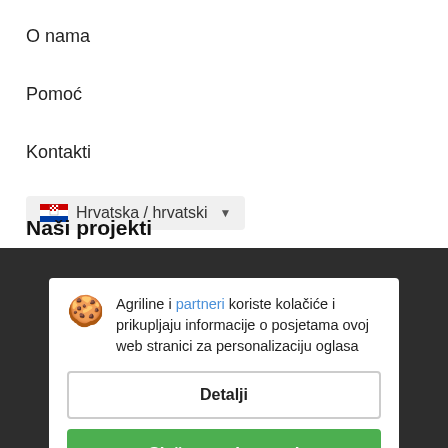O nama
Pomoć
Kontakti
Hrvatska / hrvatski
Naši projekti
Autoline™
Agriline i partneri koriste kolačiće i prikupljaju informacije o posjetama ovoj web stranici za personalizaciju oglasa
Detalji
Slažem se i zatvori
Informacija
Politika privatnosti